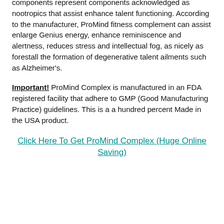components represent components acknowledged as nootropics that assist enhance talent functioning. According to the manufacturer, ProMind fitness complement can assist enlarge Genius energy, enhance reminiscence and alertness, reduces stress and intellectual fog, as nicely as forestall the formation of degenerative talent ailments such as Alzheimer's.
Important! ProMind Complex is manufactured in an FDA registered facility that adhere to GMP (Good Manufacturing Practice) guidelines. This is a a hundred percent Made in the USA product.
Click Here To Get ProMind Complex (Huge Online Saving)